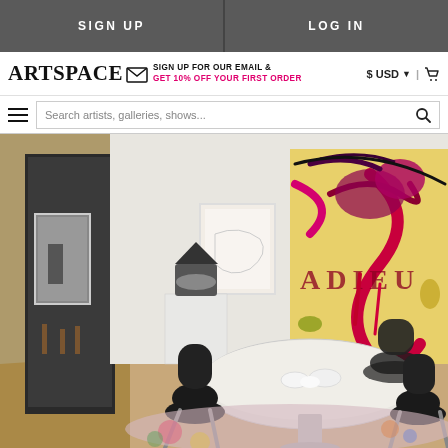SIGN UP  |  LOG IN
ARTSPACE
SIGN UP FOR OUR EMAIL & GET 10% OFF YOUR FIRST ORDER
$ USD ▼ | 🛒
Search artists, galleries, shows...
[Figure (photo): Interior dining room with a round white table, black leather chairs, white sculpture pedestal with abstract sculpture, framed artwork on white wall, large expressive abstract painting with pink/yellow/red marks reading 'ADIEU', colorful rug on the floor, mid-century modern chairs visible in adjacent room through doorway.]